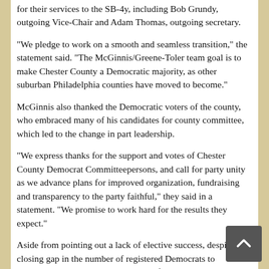for their services to the SB-4y, including Bob Grundy, outgoing Vice-Chair and Adam Thomas, outgoing secretary.
“We pledge to work on a smooth and seamless transition,” the statement said. “The McGinnis/Greene-Toler team goal is to make Chester County a Democratic majority, as other suburban Philadelphia counties have moved to become.”
McGinnis also thanked the Democratic voters of the county, who embraced many of his candidates for county committee, which led to the change in part leadership.
“We express thanks for the support and votes of Chester County Democrat Committeepersons, and call for party unity as we advance plans for improved organization, fundraising and transparency to the party faithful,” they said in a statement. “We promise to work hard for the results they expect.”
Aside from pointing out a lack of elective success, despite a closing gap in the number of registered Democrats to Republicans in the county — and the fact that Barack Obama won Chester County in 2008 and only lost by a small margin in 2012 — McGinnis and his slate hit Vaughn in another area: poor fundraising, especially as compared with other suburban Philadelphia Democratic county committees.